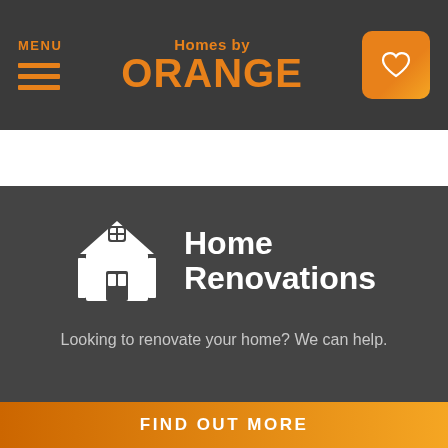MENU | Homes by ORANGE
[Figure (logo): Homes by ORANGE logo with hamburger menu icon on left and heart button on right]
Home Renovations
Looking to renovate your home? We can help.
FIND OUT MORE